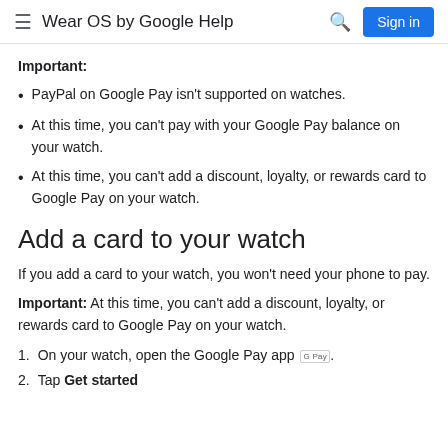Wear OS by Google Help
Important:
PayPal on Google Pay isn't supported on watches.
At this time, you can't pay with your Google Pay balance on your watch.
At this time, you can't add a discount, loyalty, or rewards card to Google Pay on your watch.
Add a card to your watch
If you add a card to your watch, you won't need your phone to pay.
Important: At this time, you can't add a discount, loyalty, or rewards card to Google Pay on your watch.
1. On your watch, open the Google Pay app.
2. Tap Get started